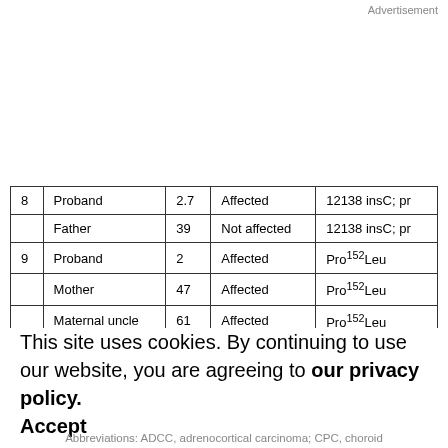Advertisement
|  | Relation | Age | Status | Mutation |
| --- | --- | --- | --- | --- |
| 8 | Proband | 2.7 | Affected | 12138 insC; pr |
|  | Father | 39 | Not affected | 12138 insC; pr |
| 9 | Proband | 2 | Affected | Pro152Leu |
|  | Mother | 47 | Affected | Pro152Leu |
|  | Maternal uncle | 61 | Affected | Pro152Leu |
NOTE: Age of first cancer and/or blood sampling in TP53 mutation carriers in the study. WT family members and controls are not included. Ages are approximate for patients
Abbreviations: ADCC, adrenocortical carcinoma; CPC, choroid